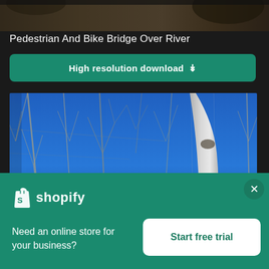[Figure (photo): Partial top crop of a nature/outdoor photo showing dark tones, top of image cut off]
Pedestrian And Bike Bridge Over River
High resolution download ↓
[Figure (photo): Photo of bare white-barked birch or aspen trees with branches against a vivid blue sky, close-up trunk visible on right]
[Figure (logo): Shopify logo — shopping bag icon with 'S' and 'shopify' wordmark in white on green background]
Need an online store for your business?
Start free trial